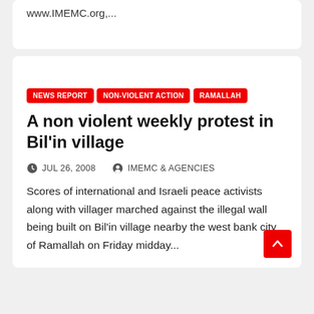www.IMEMC.org,...
NEWS REPORT
NON-VIOLENT ACTION
RAMALLAH
A non violent weekly protest in Bil'in village
JUL 26, 2008   IMEMC & AGENCIES
Scores of international and Israeli peace activists along with villager marched against the illegal wall being built on Bil'in village nearby the west bank city of Ramallah on Friday midday...